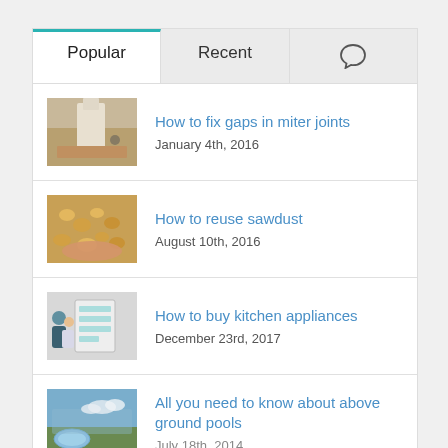Popular
Recent
[Figure (other): Comment/chat bubble icon]
How to fix gaps in miter joints
January 4th, 2016
How to reuse sawdust
August 10th, 2016
How to buy kitchen appliances
December 23rd, 2017
All you need to know about above ground pools
July 18th, 2014